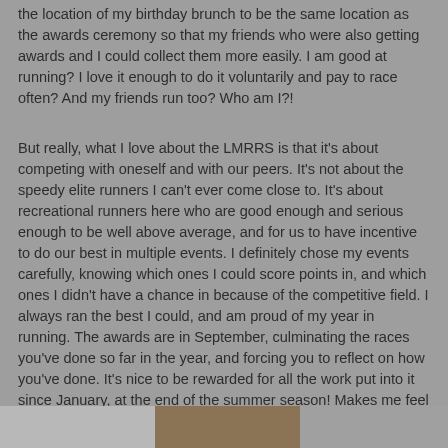the location of my birthday brunch to be the same location as the awards ceremony so that my friends who were also getting awards and I could collect them more easily. I am good at running? I love it enough to do it voluntarily and pay to race often? And my friends run too? Who am I?!
But really, what I love about the LMRRS is that it's about competing with oneself and with our peers. It's not about the speedy elite runners I can't ever come close to. It's about recreational runners here who are good enough and serious enough to be well above average, and for us to have incentive to do our best in multiple events. I definitely chose my events carefully, knowing which ones I could score points in, and which ones I didn't have a chance in because of the competitive field. I always ran the best I could, and am proud of my year in running. The awards are in September, culminating the races you've done so far in the year, and forcing you to reflect on how you've done. It's nice to be rewarded for all the work put into it since January, at the end of the summer season! Makes me feel good and ready to tackle my next events.
[Figure (photo): Partial photo strip at the bottom of the page showing fragments of images]